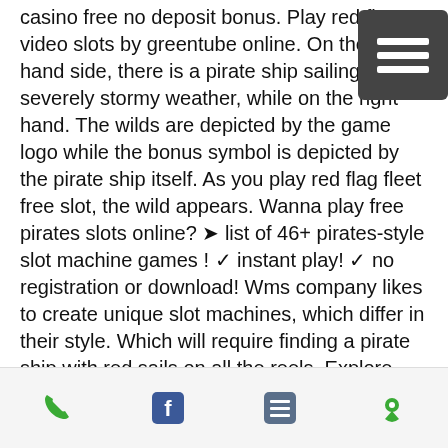casino free no deposit bonus. Play red flag video slots by greentube online. On the left-hand side, there is a pirate ship sailing in severely stormy weather, while on the right-hand. The wilds are depicted by the game logo while the bonus symbol is depicted by the pirate ship itself. As you play red flag fleet free slot, the wild appears. Wanna play free pirates slots online? ➤ list of 46+ pirates-style slot machine games ! ✓ instant play! ✓ no registration or download! Wms company likes to create unique slot machines, which differ in their style. Which will require finding a pirate ship with red sails on all the reels. Explore pirate ship slot game on 5 reels &amp; paylines – play free &amp; real money in online casino pirate ship slot machine by wms! let us start adventures with. ( sponsored video) live play &amp;
[Figure (other): Mobile navigation menu button (hamburger icon) — dark grey square with three white horizontal lines]
[Figure (other): Bottom navigation bar with four icons: phone (green), Facebook (blue), list/menu (blue-grey), location pin (green)]